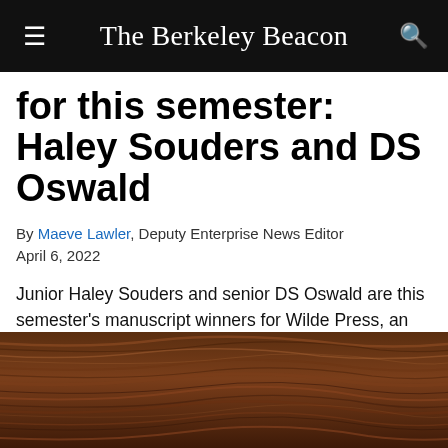The Berkeley Beacon
for this semester: Haley Souders and DS Oswald
By Maeve Lawler, Deputy Enterprise News Editor
April 6, 2022
Junior Haley Souders and senior DS Oswald are this semester's manuscript winners for Wilde Press, an imprint of Pub Club that publishes two 50-80 page manuscripts per semester. Gabrielle Jonikas,...
[Figure (photo): Close-up photo of dark wood grain with curved flowing lines in brown tones]